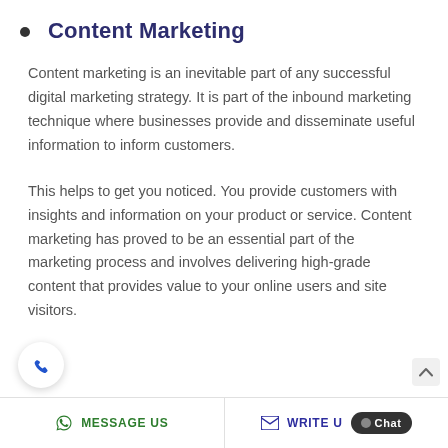Content Marketing
Content marketing is an inevitable part of any successful digital marketing strategy. It is part of the inbound marketing technique where businesses provide and disseminate useful information to inform customers.
This helps to get you noticed. You provide customers with insights and information on your product or service. Content marketing has proved to be an essential part of the marketing process and involves delivering high-grade content that provides value to your online users and site visitors.
MESSAGE US   WRITE US   Chat